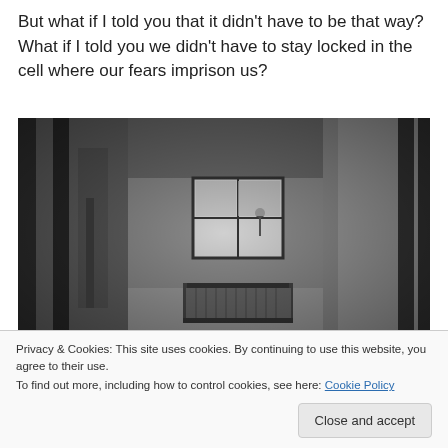But what if I told you that it didn’t have to be that way? What if I told you we didn’t have to stay locked in the cell where our fears imprison us?
[Figure (photo): Black and white photograph taken from inside a prison cell, showing bars in the foreground, bare concrete walls, a small window in the background through which a person can be seen outside, and a metal bed frame on the floor.]
Privacy & Cookies: This site uses cookies. By continuing to use this website, you agree to their use.
To find out more, including how to control cookies, see here: Cookie Policy
Close and accept